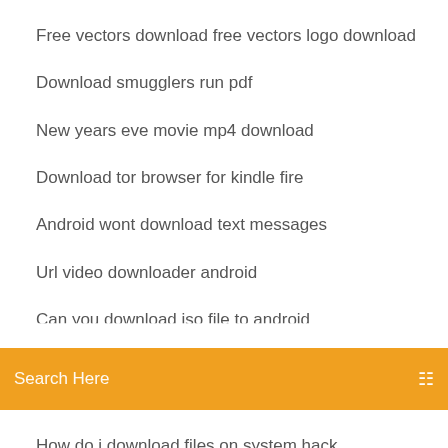Free vectors download free vectors logo download
Download smugglers run pdf
New years eve movie mp4 download
Download tor browser for kindle fire
Android wont download text messages
Url video downloader android
Can you download iso file to android
[Figure (screenshot): Orange search bar with 'Search Here' placeholder text and a search icon on the right]
How do i download files on system hack
Download resident evil 2 apk obb
Magic puzzles app download
Powerdirector free download full version for windows 7
Download fable iii for pc free
Download app to other android device
How to download the weather channeld desktop app
20 May 2019 Confused about how to sync your Mac or